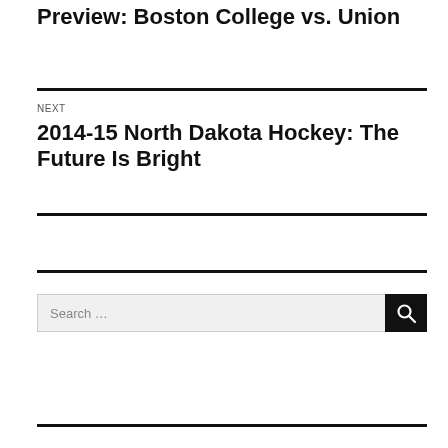Preview: Boston College vs. Union
NEXT
2014-15 North Dakota Hockey: The Future Is Bright